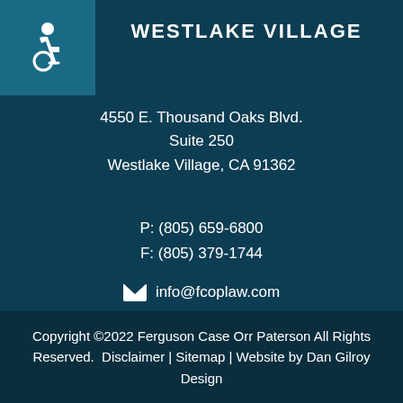[Figure (illustration): Accessibility wheelchair icon in a teal square box, top-left corner]
WESTLAKE VILLAGE
4550 E. Thousand Oaks Blvd.
Suite 250
Westlake Village, CA 91362
P: (805) 659-6800
F: (805) 379-1744
info@fcoplaw.com
[Figure (illustration): Social media icons: Facebook, Twitter, LinkedIn on rounded gray square backgrounds]
Copyright ©2022 Ferguson Case Orr Paterson All Rights Reserved.  Disclaimer | Sitemap | Website by Dan Gilroy Design